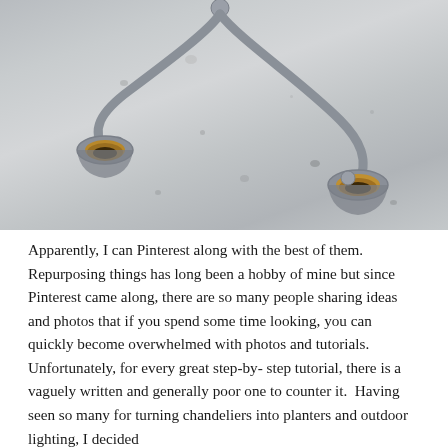[Figure (photo): Close-up photo of a metal chandelier with curved arms and two brass/bronze candle cup holders, lying on a concrete surface. The chandelier appears silver/grey and the candle cups have a warm gold-brown interior. The background is grey concrete with various marks and spots.]
Apparently, I can Pinterest along with the best of them.  Repurposing things has long been a hobby of mine but since Pinterest came along, there are so many people sharing ideas and photos that if you spend some time looking, you can quickly become overwhelmed with photos and tutorials.  Unfortunately, for every great step-by- step tutorial, there is a vaguely written and generally poor one to counter it.  Having seen so many for turning chandeliers into planters and outdoor lighting, I decided